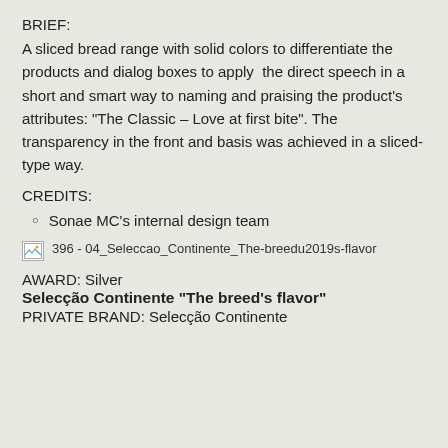BRIEF:
A sliced bread range with solid colors to differentiate the products and dialog boxes to apply the direct speech in a short and smart way to naming and praising the product’s attributes: “The Classic – Love at first bite”. The transparency in the front and basis was achieved in a sliced-type way.
CREDITS:
Sonae MC’s internal design team
[Figure (photo): Image placeholder with filename: 396 - 04_Seleccao_Continente_The-breedu2019s-flavor]
AWARD: Silver
Selecção Continente “The breed’s flavor”
PRIVATE BRAND: Selecção Continente